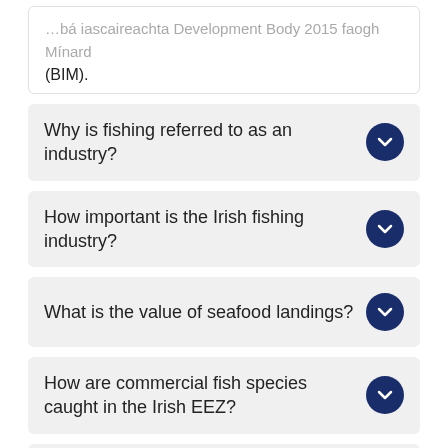(BIM).
Why is fishing referred to as an industry?
How important is the Irish fishing industry?
What is the value of seafood landings?
How are commercial fish species caught in the Irish EEZ?
How is the Irish fleet divided up?
What are the top species landed?